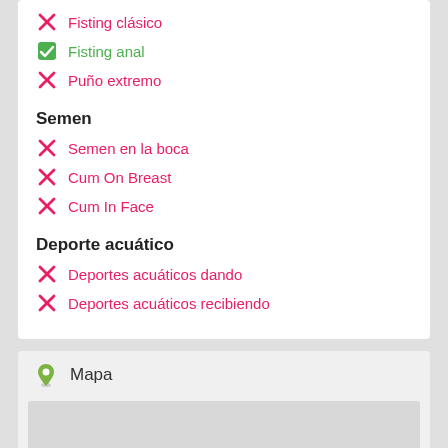Fisting clásico
Fisting anal
Puño extremo
Semen
Semen en la boca
Cum On Breast
Cum In Face
Deporte acuático
Deportes acuáticos dando
Deportes acuáticos recibiendo
Mapa
[Figure (map): Map area placeholder (gray rectangle)]